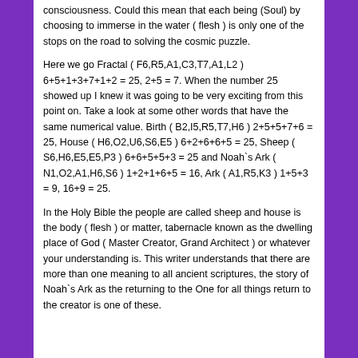consciousness. Could this mean that each being (Soul) by choosing to immerse in the water ( flesh ) is only one of the stops on the road to solving the cosmic puzzle.
Here we go Fractal ( F6,R5,A1,C3,T7,A1,L2 ) 6+5+1+3+7+1+2 = 25, 2+5 = 7. When the number 25 showed up I knew it was going to be very exciting from this point on. Take a look at some other words that have the same numerical value. Birth ( B2,I5,R5,T7,H6 ) 2+5+5+7+6 = 25, House ( H6,O2,U6,S6,E5 ) 6+2+6+6+5 = 25, Sheep ( S6,H6,E5,E5,P3 ) 6+6+5+5+3 = 25 and Noah`s Ark ( N1,O2,A1,H6,S6 ) 1+2+1+6+5 = 16, Ark ( A1,R5,K3 ) 1+5+3 = 9, 16+9 = 25.
In the Holy Bible the people are called sheep and house is the body ( flesh ) or matter, tabernacle known as the dwelling place of God ( Master Creator, Grand Architect ) or whatever your understanding is. This writer understands that there are more than one meaning to all ancient scriptures, the story of Noah`s Ark as the returning to the One for all things return to the creator is one of these.